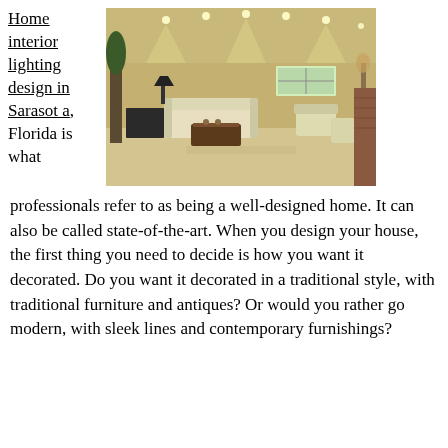Home interior lighting design in Sarasota, Florida is what professionals refer to as being a well-designed home. It can also be called state-of-the-art. When you design your house, the first thing you need to decide is how you want it decorated. Do you want it decorated in a traditional style, with traditional furniture and antiques? Or would you rather go modern, with sleek lines and contemporary furnishings?
[Figure (photo): Interior photo of a modern home living room with recessed ceiling lights, a white sofa, dark coffee table, armchairs, and neutral tones throughout.]